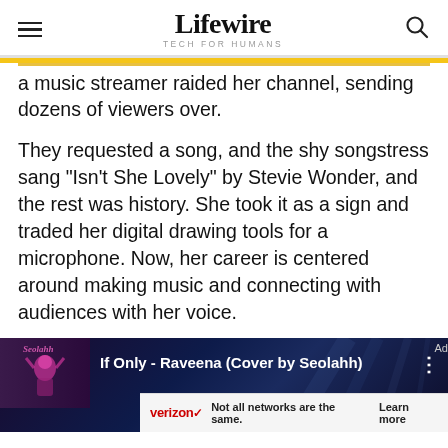Lifewire TECH FOR HUMANS
a music streamer raided her channel, sending dozens of viewers over.
They requested a song, and the shy songstress sang “Isn’t She Lovely” by Stevie Wonder, and the rest was history. She took it as a sign and traded her digital drawing tools for a microphone. Now, her career is centered around making music and connecting with audiences with her voice.
[Figure (screenshot): YouTube video thumbnail showing 'If Only - Raveena (Cover by Seolahh)' with a performer figure on dark blue background, and a Verizon advertisement banner at the bottom]